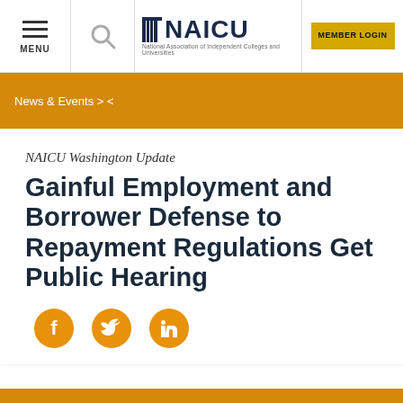MENU | NAICU - National Association of Independent Colleges and Universities | MEMBER LOGIN
News & Events > <
NAICU Washington Update
Gainful Employment and Borrower Defense to Repayment Regulations Get Public Hearing
[Figure (illustration): Social media share icons: Facebook, Twitter, LinkedIn (orange circles with white icons)]